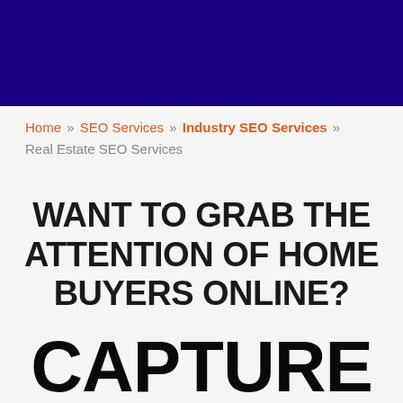Home » SEO Services » Industry SEO Services » Real Estate SEO Services
WANT TO GRAB THE ATTENTION OF HOME BUYERS ONLINE?
CAPTURE